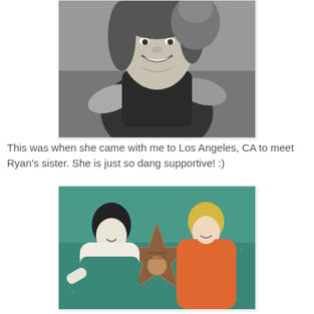[Figure (photo): Black and white photo of a smiling young woman with long hair, leaning forward toward the camera]
This was when she came with me to Los Angeles, CA to meet Ryan's sister. She is just so dang supportive! :)
[Figure (photo): Color photo of two women posing over a Hollywood Walk of Fame star (Michael Jackson star), one in white and teal, one in orange]